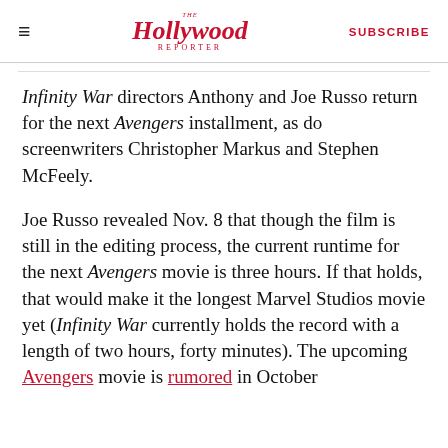The Hollywood Reporter | SUBSCRIBE
Infinity War directors Anthony and Joe Russo return for the next Avengers installment, as do screenwriters Christopher Markus and Stephen McFeely.
Joe Russo revealed Nov. 8 that though the film is still in the editing process, the current runtime for the next Avengers movie is three hours. If that holds, that would make it the longest Marvel Studios movie yet (Infinity War currently holds the record with a length of two hours, forty minutes). The upcoming Avengers movie is rumored in October…